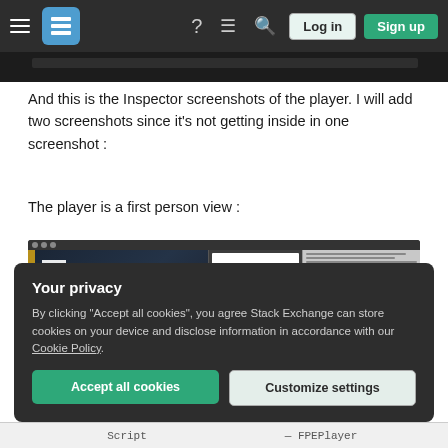Stack Exchange navigation header with Log in and Sign up buttons
[Figure (screenshot): Partial screenshot of a browser/application window shown as a dark strip]
And this is the Inspector screenshots of the player. I will add two screenshots since it's not getting inside in one screenshot :
The player is a first person view :
[Figure (screenshot): Unity Inspector screenshot showing a 3D game scene with a first-person view, including a dark sci-fi environment, a white sphere, and inspector panels on the right]
Your privacy
By clicking "Accept all cookies", you agree Stack Exchange can store cookies on your device and disclose information in accordance with our Cookie Policy.
Accept all cookies   Customize settings
Script    — FPEPlayer